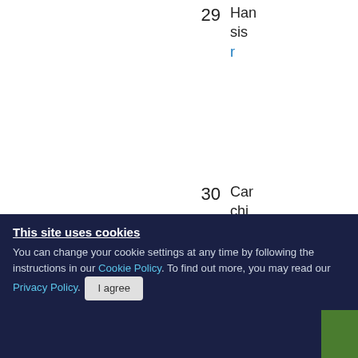29 Ham... sis... r
30 Can... chi... in c
31
32 Vale
Need help?
202
This site uses cookies
You can change your cookie settings at any time by following the instructions in our Cookie Policy. To find out more, you may read our Privacy Policy.
I agree